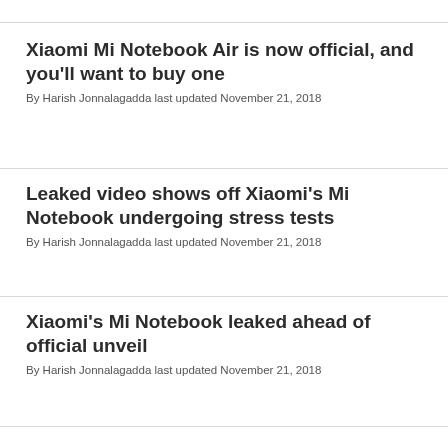Xiaomi Mi Notebook Air is now official, and you'll want to buy one
By Harish Jonnalagadda last updated November 21, 2018
Leaked video shows off Xiaomi's Mi Notebook undergoing stress tests
By Harish Jonnalagadda last updated November 21, 2018
Xiaomi's Mi Notebook leaked ahead of official unveil
By Harish Jonnalagadda last updated November 21, 2018